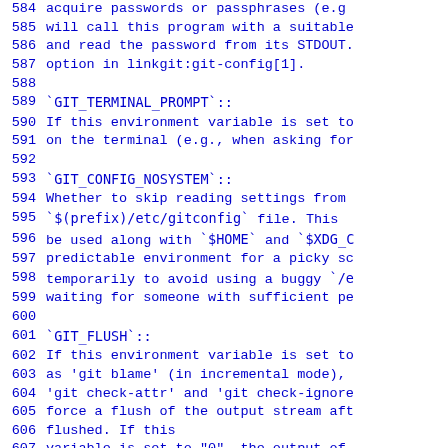584   acquire passwords or passphrases (e.g
585       will call this program with a suitable
586       and read the password from its STDOUT.
587       option in linkgit:git-config[1].
588
589 `GIT_TERMINAL_PROMPT`::
590       If this environment variable is set to
591       on the terminal (e.g., when asking for
592
593 `GIT_CONFIG_NOSYSTEM`::
594       Whether to skip reading settings from
595       `$(prefix)/etc/gitconfig` file.  This
596       be used along with `$HOME` and `$XDG_C
597       predictable environment for a picky sc
598       temporarily to avoid using a buggy `/e
599       waiting for someone with sufficient pe
600
601 `GIT_FLUSH`::
602       If this environment variable is set to
603       as 'git blame' (in incremental mode),
604       'git check-attr' and 'git check-ignore
605       force a flush of the output stream aft
606       flushed. If this
607       variable is set to "0", the output of
608       using completely buffered I/O.  If th
609       not set, Git will choose buffered or n
610       based on whether stdout appears to be
611
612 `GIT_TRACE`::
613       Enables general trace messages, e.g. a